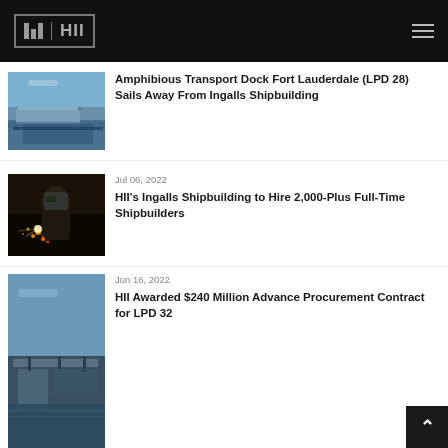HII
[Figure (photo): Aerial view of amphibious transport dock ship on water]
Amphibious Transport Dock Fort Lauderdale (LPD 28) Sails Away From Ingalls Shipbuilding
[Figure (photo): Welder with sparks flying in shipyard]
Jul 06, 2022
HII's Ingalls Shipbuilding to Hire 2,000-Plus Full-Time Shipbuilders
[Figure (photo): Aerial view of shipyard with cranes and vessels]
Jun 16, 2022
HII Awarded $240 Million Advance Procurement Contract for LPD 32